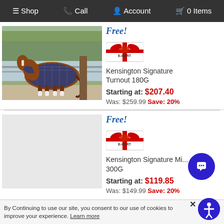Shop  Call  Account  0 Items
Free! Kensington Signature Turnout 180G Starting at: $207.40 Was: $259.99 Save: 20%
[Figure (photo): Horse wearing a navy/grey patterned turnout blanket standing outside near a fence and trees]
Free! Kensington Signature Mi... 300G Starting at: $119.85 Was: $149.99 Save: 20%
By Continuing to use our site, you consent to our use of cookies to improve your experience. Learn more